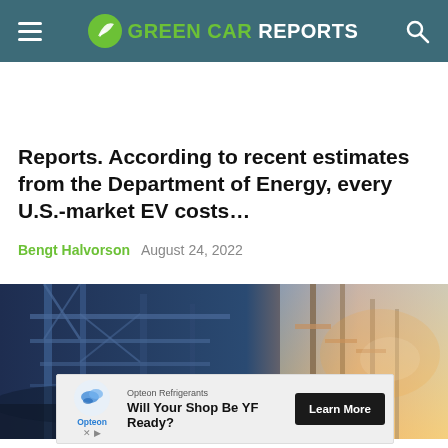GREEN CAR REPORTS
Reports. According to recent estimates from the Department of Energy, every U.S.-market EV costs…
Bengt Halvorson   August 24, 2022
[Figure (photo): Industrial electrical grid infrastructure with metal towers and transmission lines, warm orange sunset light on the right side, blue-tinted steel structures on the left]
[Figure (infographic): Opteon Refrigerants advertisement banner: logo with blue droplet icon, text 'Will Your Shop Be YF Ready?', black 'Learn More' button]